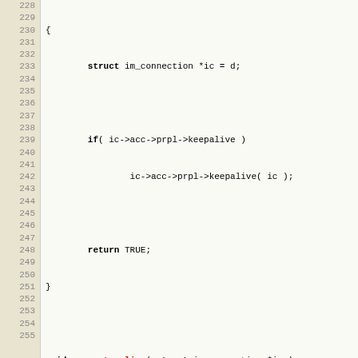[Figure (screenshot): Source code listing in C showing lines 228-255, with line numbers on the left in a beige gutter. Code includes a struct, keepalive logic, and account_online function definition with comments about MSN server redirection.]